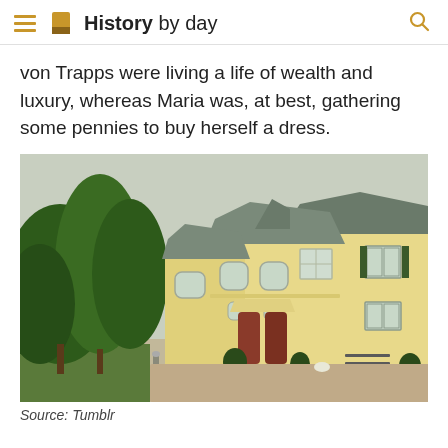History by day
von Trapps were living a life of wealth and luxury, whereas Maria was, at best, gathering some pennies to buy herself a dress.
[Figure (photo): Exterior of a large yellow Austrian manor house with dark roof, multiple windows with green shutters, formal entrance with arched doorways, manicured shrubs, a bench, and a gravel driveway. Dense green trees on the left.]
Source: Tumblr